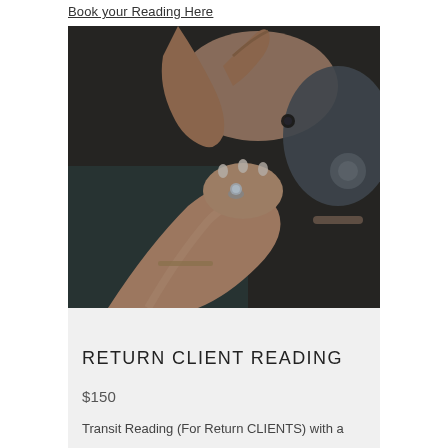Book your Reading Here
[Figure (photo): Close-up of two people holding hands; one person wears a ring with a round stone and has light-colored nails; the other wears a bracelet and a patterned sweater; dark moody background.]
RETURN CLIENT READING
$150
Transit Reading (For Return CLIENTS) with a